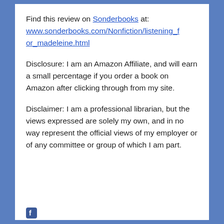Find this review on Sonderbooks at: www.sonderbooks.com/Nonfiction/listening_for_madeleine.html
Disclosure: I am an Amazon Affiliate, and will earn a small percentage if you order a book on Amazon after clicking through from my site.
Disclaimer: I am a professional librarian, but the views expressed are solely my own, and in no way represent the official views of my employer or of any committee or group of which I am part.